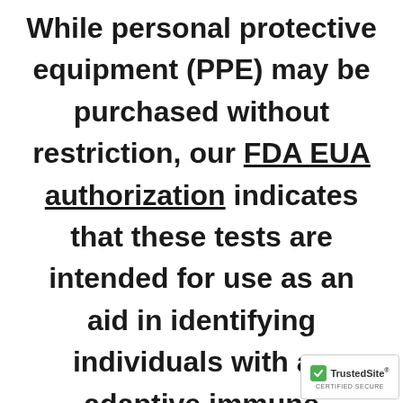While personal protective equipment (PPE) may be purchased without restriction, our FDA EUA authorization indicates that these tests are intended for use as an aid in identifying individuals with an adaptive immune response to SARS-CoV-2, indicating recent or prior infection. Emergency
[Figure (logo): TrustedSite CERTIFIED SECURE badge with green checkmark]